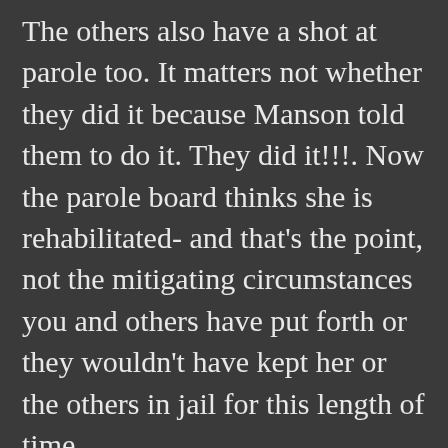The others also have a shot at parole too. It matters not whether they did it because Manson told them to do it. They did it!!!. Now the parole board thinks she is rehabilitated- and that's the point, not the mitigating circumstances you and others have put forth or they wouldn't have kept her or the others in jail for this length of time. -But their sentence allowed for parole, not just for Leslie but for all of them. Now she is old and they have